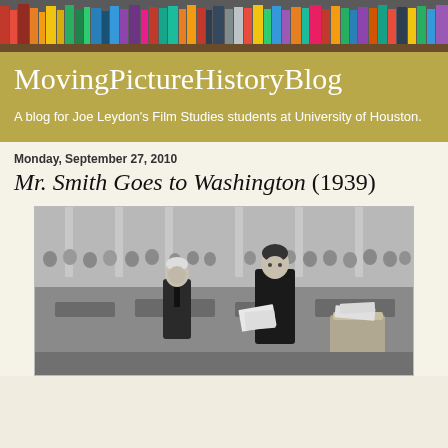[Figure (photo): Colorful bookshelf header image with rows of books visible]
MovingPictureHistoryBlog
A blog for Joe Leydon's Film Studies students at University of Houston.
Monday, September 27, 2010
Mr. Smith Goes to Washington (1939)
[Figure (photo): Black and white still from Mr. Smith Goes to Washington (1939) showing two men in a Senate chamber, with spectators in the background and paper baskets visible]